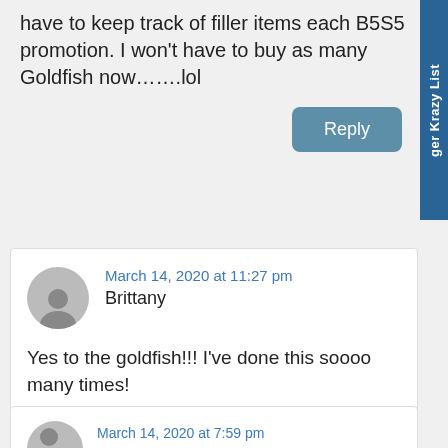have to keep track of filler items each B5S5 promotion. I won't have to buy as many Goldfish now…….lol
Reply
Brittany  March 14, 2020 at 11:27 pm
Yes to the goldfish!!! I've done this soooo many times!
Reply
March 14, 2020 at 7:59 pm